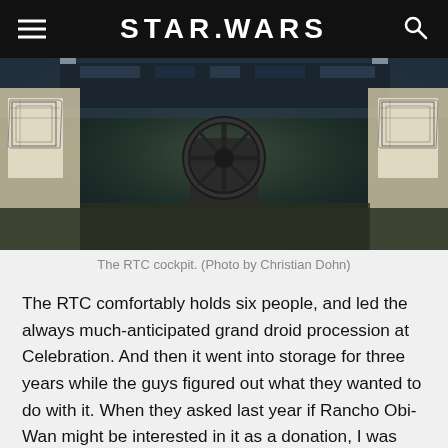STAR WARS
[Figure (photo): Interior view of the RTC cockpit showing a steering wheel and control panels with geometric designs on the sides]
The RTC cockpit. (Photo by Christian Dohn)
The RTC comfortably holds six people, and led the always much-anticipated grand droid procession at Celebration. And then it went into storage for three years while the guys figured out what they wanted to do with it. When they asked last year if Rancho Obi-Wan might be interested in it as a donation, I was nonplussed — thrilled at the possibility but unsure if we could handle it. But one of the goals that Rancho general manager Anne Neumann and I always have is to make the museum more interactive, constantly adding and changing things. So we happily said yes.